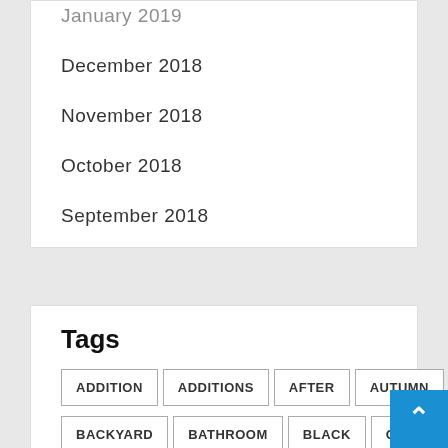January 2019
December 2018
November 2018
October 2018
September 2018
Tags
ADDITION
ADDITIONS
AFTER
AUTUMN
BACKYARD
BATHROOM
BLACK
CONCEPTS
CONTRACTORS
DESIGN
DESIGNERS
DWELLING